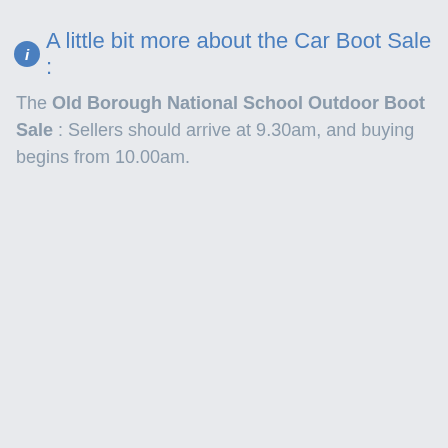ℹ A little bit more about the Car Boot Sale :
The Old Borough National School Outdoor Boot Sale : Sellers should arrive at 9.30am, and buying begins from 10.00am.